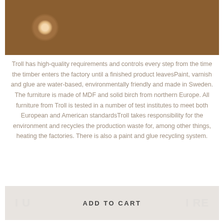[Figure (photo): Stacked cross-section logs of timber viewed from the end, showing wood grain rings, in brown/tan tones.]
Troll has high-quality requirements and controls every step from the time the timber enters the factory until a finished product leavesPaint, varnish and glue are water-based, environmentally friendly and made in Sweden. The furniture is made of MDF and solid birch from northern Europe. All furniture from Troll is tested in a number of test institutes to meet both European and American standardsTroll takes responsibility for the environment and recycles the production waste for, among other things, heating the factories. There is also a paint and glue recycling system.
ADD TO CART